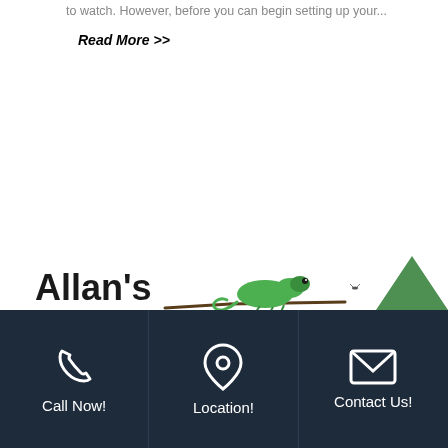to watch. However, before you can begin setting up your...
Read More >>
[Figure (logo): Allan's Pet Center logo with chameleon on a branch above large green textured letters PET CENTER]
[Figure (other): Back to top chevron arrow in green]
Call Now!  Location!  Contact Us!